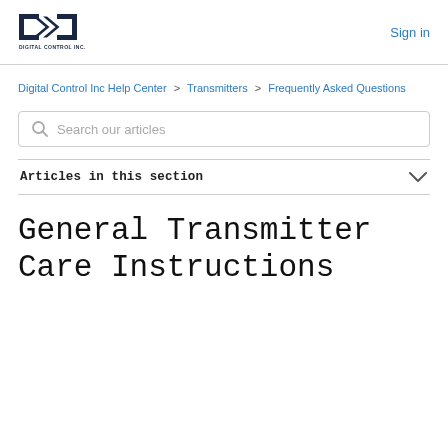Digital Control Inc. [logo] | Sign in
Digital Control Inc Help Center > Transmitters > Frequently Asked Questions
Search our articles
Articles in this section
General Transmitter Care Instructions